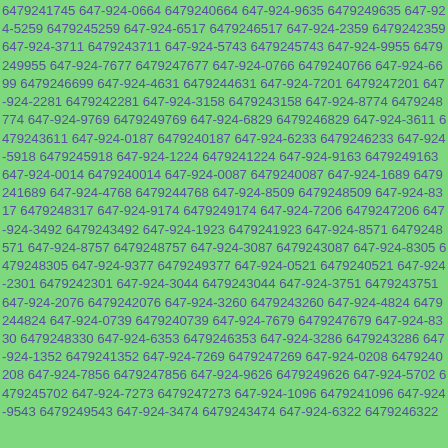6479241745 647-924-0664 6479240664 647-924-9635 6479249635 647-924-5259 6479245259 647-924-6517 6479246517 647-924-2359 6479242359 647-924-3711 6479243711 647-924-5743 6479245743 647-924-9955 6479249955 647-924-7677 6479247677 647-924-0766 6479240766 647-924-6699 6479246699 647-924-4631 6479244631 647-924-7201 6479247201 647-924-2281 6479242281 647-924-3158 6479243158 647-924-8774 6479248774 647-924-9769 6479249769 647-924-6829 6479246829 647-924-3611 6479243611 647-924-0187 6479240187 647-924-6233 6479246233 647-924-5918 6479245918 647-924-1224 6479241224 647-924-9163 6479249163 647-924-0014 6479240014 647-924-0087 6479240087 647-924-1689 6479241689 647-924-4768 6479244768 647-924-8509 6479248509 647-924-8317 6479248317 647-924-9174 6479249174 647-924-7206 6479247206 647-924-3492 6479243492 647-924-1923 6479241923 647-924-8571 6479248571 647-924-8757 6479248757 647-924-3087 6479243087 647-924-8305 6479248305 647-924-9377 6479249377 647-924-0521 6479240521 647-924-2301 6479242301 647-924-3044 6479243044 647-924-3751 6479243751 647-924-2076 6479242076 647-924-3260 6479243260 647-924-4824 6479244824 647-924-0739 6479240739 647-924-7679 6479247679 647-924-8330 6479248330 647-924-6353 6479246353 647-924-3286 6479243286 647-924-1352 6479241352 647-924-7269 6479247269 647-924-0208 6479240208 647-924-7856 6479247856 647-924-9626 6479249626 647-924-5702 6479245702 647-924-7273 6479247273 647-924-1096 6479241096 647-924-9543 6479249543 647-924-3474 6479243474 647-924-6322 6479246322